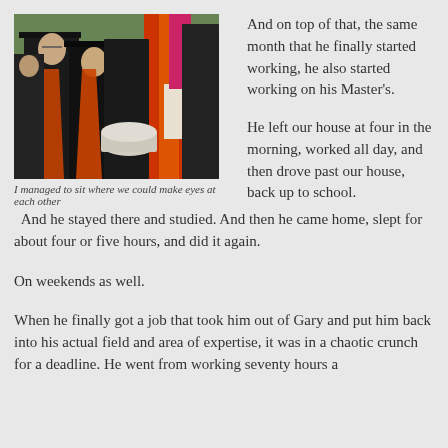[Figure (photo): Graduation ceremony photo showing students in black caps and gowns with orange and red sashes, standing together outdoors with trees in background]
And on top of that, the same month that he finally started working, he also started working on his Master's.
I managed to sit where we could make eyes at each other
He left our house at four in the morning, worked all day, and then drove past our house, back up to school.  And he stayed there and studied.  And then he came home, slept for about four or five hours, and did it again.
On weekends as well.
When he finally got a job that took him out of Gary and put him back into his actual field and area of expertise, it was in a chaotic crunch for a deadline.  He went from working seventy hours a